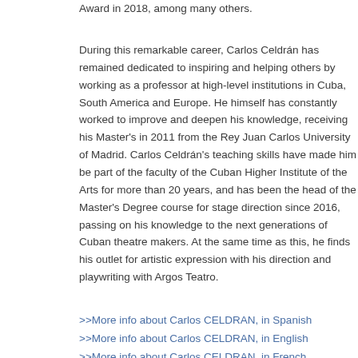Award in 2018, among many others.
During this remarkable career, Carlos Celdrán has remained dedicated to inspiring and helping others by working as a professor at high-level institutions in Cuba, South America and Europe. He himself has constantly worked to improve and deepen his knowledge, receiving his Master's in 2011 from the Rey Juan Carlos University of Madrid. Carlos Celdrán's teaching skills have made him be part of the faculty of the Cuban Higher Institute of the Arts for more than 20 years, and has been the head of the Master's Degree course for stage direction since 2016, passing on his knowledge to the next generations of Cuban theatre makers. At the same time as this, he finds his outlet for artistic expression with his direction and playwriting with Argos Teatro.
>>More info about Carlos CELDRAN, in Spanish
>>More info about Carlos CELDRAN, in English
>>More info about Carlos CELDRAN, in French